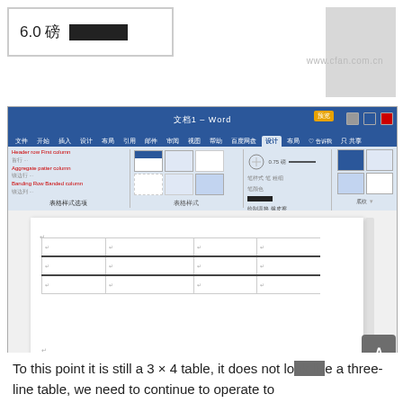[Figure (screenshot): Scale display showing 6.0 磅 with a black bar, and a gray box]
[Figure (screenshot): Microsoft Word window showing table design ribbon with Chinese UI labels. Document area contains a 3x4 table with three-line table formatting partially applied. Status bar shows 600% zoom.]
To this point it is still a 3 × 4 table, it does not look like a three-line table, we need to continue to operate to